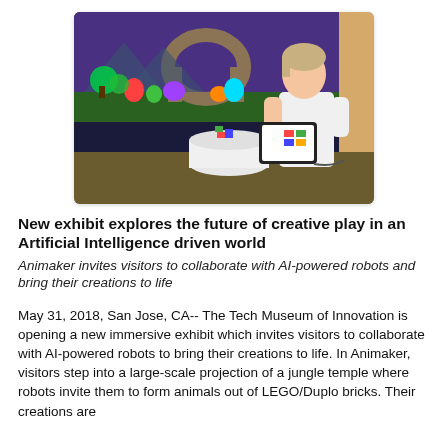[Figure (photo): A woman with short light hair, wearing a white t-shirt, stands in a darkened room interacting with a tablet on a white cylindrical table. Behind her, a large colorful projection shows a jungle temple scene with animated animals and green foliage. Additional objects are on the table.]
New exhibit explores the future of creative play in an Artificial Intelligence driven world
Animaker invites visitors to collaborate with AI-powered robots and bring their creations to life
May 31, 2018, San Jose, CA-- The Tech Museum of Innovation is opening a new immersive exhibit which invites visitors to collaborate with AI-powered robots to bring their creations to life. In Animaker, visitors step into a large-scale projection of a jungle temple where robots invite them to form animals out of LEGO/Duplo bricks. Their creations are